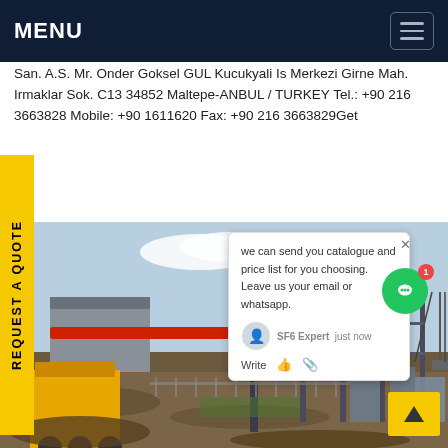MENU
San. A.S. Mr. Onder Goksel GUL Kucukyali Is Merkezi Girne Mah. Irmaklar Sok. C13 34852 Maltepe-ANBUL / TURKEY Tel.: +90 216 3663828 Mobile: +90 1611620 Fax: +90 216 3663829Get
[Figure (photo): Construction site with cranes, industrial steel structures, and an electrical substation under construction]
we can send you catalogue and price list for you choosing. Leave us your email or whatsapp. SF6 Expert just now Write